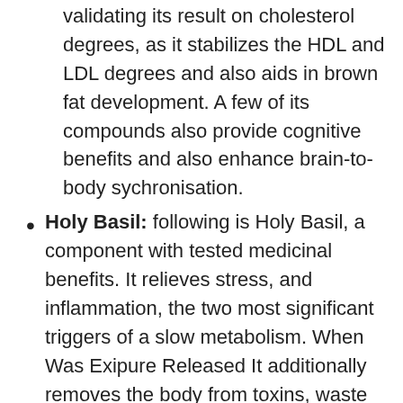validating its result on cholesterol degrees, as it stabilizes the HDL and LDL degrees and also aids in brown fat development. A few of its compounds also provide cognitive benefits and also enhance brain-to-body sychronisation.
Holy Basil: following is Holy Basil, a component with tested medicinal benefits. It relieves stress, and inflammation, the two most significant triggers of a slow metabolism. When Was Exipure Released It additionally removes the body from toxins, waste products, and mobile waste, keeping excellent metabolic conditions for the body.
White Oriental Ginseng: Exipure pills also consist of Panax ginseng or Korean ginseng, which provides unrivaled energy to the body